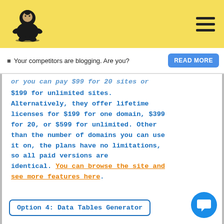[Figure (logo): Sumo wrestler logo icon in black on yellow background with hamburger menu icon on right]
Your competitors are blogging. Are you?  READ MORE
or you can pay $99 for 20 sites or $199 for unlimited sites. Alternatively, they offer lifetime licenses for $199 for one domain, $399 for 20, or $599 for unlimited. Other than the number of domains you can use it on, the plans have no limitations, so all paid versions are identical. You can browse the site and see more features here.
Option 4: Data Tables Generator